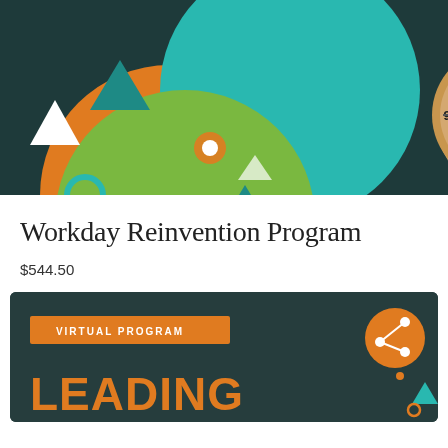[Figure (photo): Hero banner image showing a decorative graphic with colorful geometric shapes (triangles, circles) on dark teal background on left side, and a wooden analog clock showing time plus a calendar with colorful sticky tabs on right side]
Workday Reinvention Program
$544.50
[Figure (illustration): Dark teal card with orange badge reading 'VIRTUAL PROGRAM', large orange bold text 'LEADING', an orange share icon circle, and small teal and dark geometric shapes in bottom right]